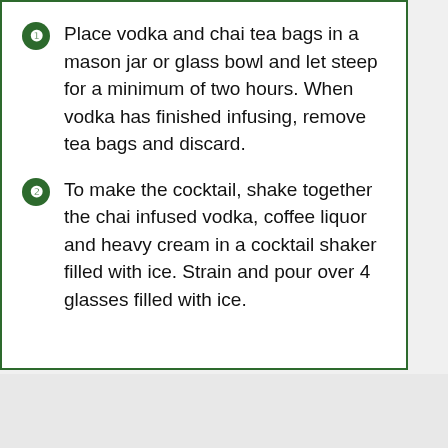Place vodka and chai tea bags in a mason jar or glass bowl and let steep for a minimum of two hours. When vodka has finished infusing, remove tea bags and discard.
To make the cocktail, shake together the chai infused vodka, coffee liquor and heavy cream in a cocktail shaker filled with ice. Strain and pour over 4 glasses filled with ice.